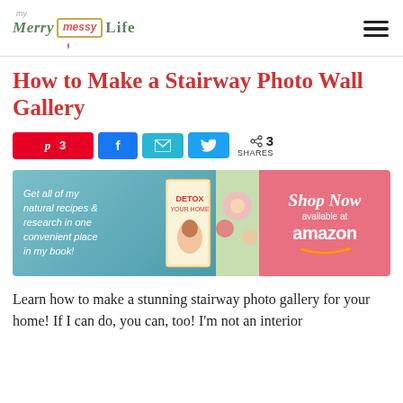My Merry Messy Life — navigation header with logo and hamburger menu
How to Make a Stairway Photo Wall Gallery
[Figure (infographic): Social share bar with Pinterest (3), Facebook, Email, Twitter buttons and 3 SHARES count]
[Figure (infographic): Advertisement banner for 'Detox Your Home' book. Left side on teal background: 'Get all of my natural recipes & research in one convenient place in my book!' with book cover image. Right side on pink/coral background: 'Shop Now available at amazon']
Learn how to make a stunning stairway photo gallery for your home! If I can do, you can, too! I'm not an interior